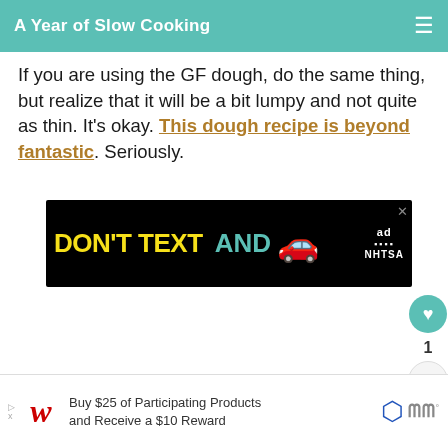A Year of Slow Cooking
If you are using the GF dough, do the same thing, but realize that it will be a bit lumpy and not quite as thin. It's okay. This dough recipe is beyond fantastic. Seriously.
[Figure (other): Advertisement banner with text 'DON'T TEXT AND' with a red car emoji and NHTSA logo on black background]
[Figure (other): Heart/like button (teal circle with heart icon), count of 1, and share button]
[Figure (other): What's Next panel showing CrockPot Caramel... with a thumbnail image]
[Figure (other): Bottom advertisement for Walgreens: Buy $25 of Participating Products and Receive a $10 Reward]